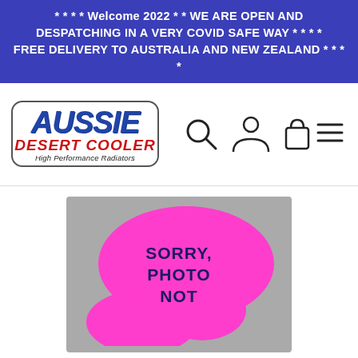* * * * Welcome 2022 * * WE ARE OPEN AND DESPATCHING IN A VERY COVID SAFE WAY * * * * FREE DELIVERY TO AUSTRALIA AND NEW ZEALAND * * * *
[Figure (logo): Aussie Desert Cooler — High Performance Radiators logo inside rounded rectangle border]
[Figure (screenshot): Navigation icons: search magnifying glass, user/person icon, shopping bag/cart icon, and hamburger menu icon]
[Figure (photo): Product placeholder image with grey background and a pink/magenta blob shape containing text SORRY, PHOTO NOT (cut off)]